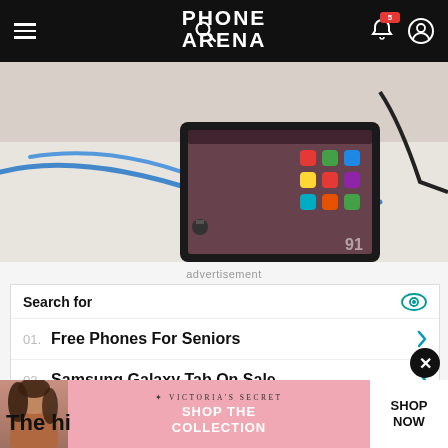PHONE ARENA
[Figure (photo): A tablet/phone device on a white surface with blue cables connected, showing Android home screen with colorful app icons. Watermark '91' visible in bottom right.]
advertisement
[Figure (infographic): Search advertisement block. Header: 'Search for' with eye icon. Item 01: 'Free Phones For Seniors' with chevron. Item 02: 'Samsung Galaxy Tab On Sale' with chevron. Footer: 'Yahoo! Search | Sponsored' with play icon.]
[Figure (infographic): Victoria's Secret advertisement banner showing model, VS logo, 'SHOP THE COLLECTION' text, and 'SHOP NOW' button. Close (X) button in top right of banner.]
The hi